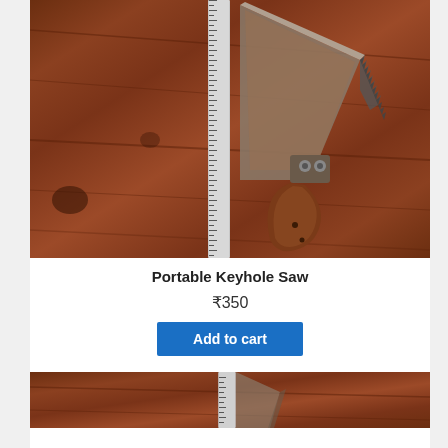[Figure (photo): Photo of a portable keyhole saw laid on a wooden surface next to a metal ruler/measuring tape, showing the saw blade and wooden handle.]
Portable Keyhole Saw
₹350
Add to cart
[Figure (photo): Partial photo of another product on a wooden surface, cropped at the bottom of the page.]